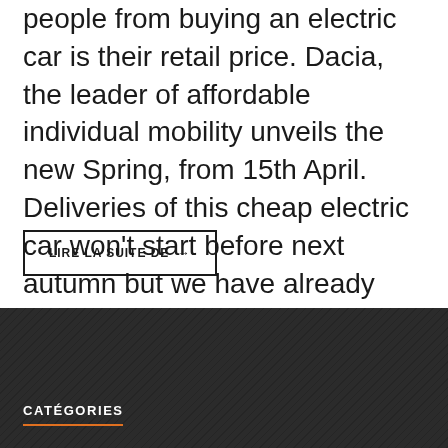people from buying an electric car is their retail price. Dacia, the leader of affordable individual mobility unveils the new Spring, from 15th April. Deliveries of this cheap electric car won't start before next autumn but we have already tested it for you! The Renault- Nissan Alliance definitely knows ...
LIRE LA SUITE DE →
CATÉGORIES